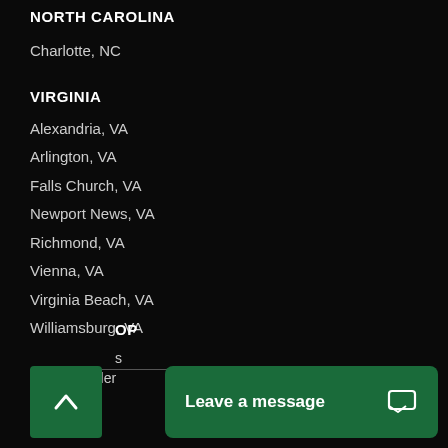NORTH CAROLINA
Charlotte, NC
VIRGINIA
Alexandria, VA
Arlington, VA
Falls Church, VA
Newport News, VA
Richmond, VA
Vienna, VA
Virginia Beach, VA
Williamsburg, VA
Leave a message